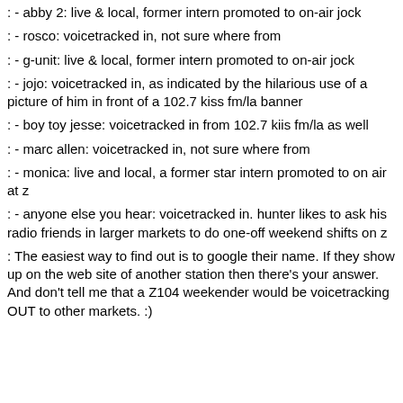: - abby 2: live & local, former intern promoted to on-air jock
: - rosco: voicetracked in, not sure where from
: - g-unit: live & local, former intern promoted to on-air jock
: - jojo: voicetracked in, as indicated by the hilarious use of a picture of him in front of a 102.7 kiss fm/la banner
: - boy toy jesse: voicetracked in from 102.7 kiis fm/la as well
: - marc allen: voicetracked in, not sure where from
: - monica: live and local, a former star intern promoted to on air at z
: - anyone else you hear: voicetracked in. hunter likes to ask his radio friends in larger markets to do one-off weekend shifts on z
: The easiest way to find out is to google their name. If they show up on the web site of another station then there's your answer. And don't tell me that a Z104 weekender would be voicetracking OUT to other markets. :)